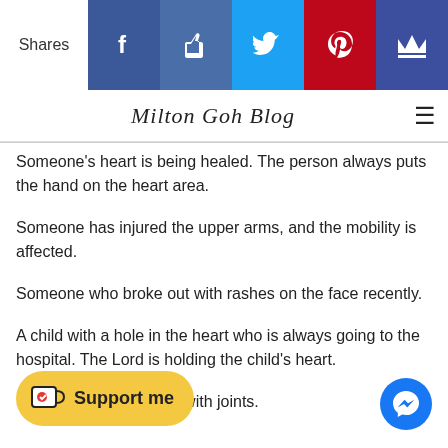Shares | Facebook | Like | Twitter | Pinterest | Crown
Milton Goh Blog
Someone's heart is being healed. The person always puts the hand on the heart area.
Someone has injured the upper arms, and the mobility is affected.
Someone who broke out with rashes on the face recently.
A child with a hole in the heart who is always going to the hospital. The Lord is holding the child's heart.
Someone with problem with joints.
...the teeth.